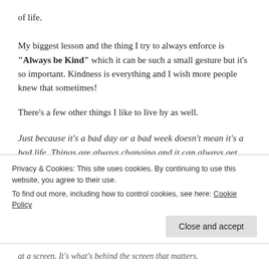of life.
My biggest lesson and the thing I try to always enforce is "Always be Kind" which it can be such a small gesture but it's so important. Kindness is everything and I wish more people knew that sometimes!
There's a few other things I like to live by as well.
Just because it's a bad day or a bad week doesn't mean it's a bad life. Things are always changing and it can always get better.
Family comes first.
Privacy & Cookies: This site uses cookies. By continuing to use this website, you agree to their use. To find out more, including how to control cookies, see here: Cookie Policy
at a screen. It's what's behind the screen that matters.